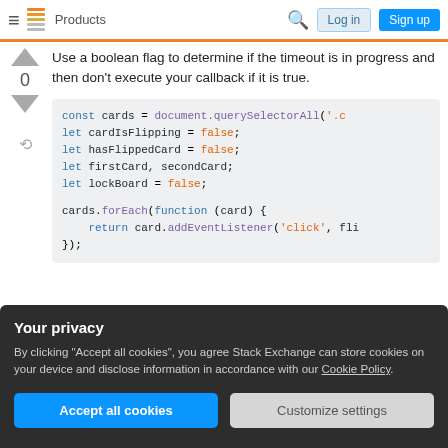Stack Overflow - Products | Log in | Sign up
Use a boolean flag to determine if the timeout is in progress and then don't execute your callback if it is true.
[Figure (screenshot): JavaScript code block showing: const cards = document.querySelectorAll('.c, let cardIsFlipping = false; let hasFlippedCard = false; let firstCard, secondCard; let lockBoard = false; cards.forEach(function (card) { return card.addEventListener('click', fli }); //first click]
Your privacy
By clicking "Accept all cookies", you agree Stack Exchange can store cookies on your device and disclose information in accordance with our Cookie Policy.
Accept all cookies | Customize settings